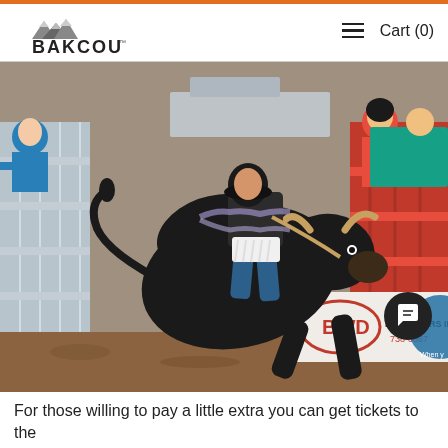BAKCOU   Cart (0)
[Figure (photo): A bull rider on a large black bull at a rodeo, with chutes visible in the background and a BWD Basin Wide Dumpsters Inc. 738-3867 advertising sign visible on the arena fence.]
For those willing to pay a little extra you can get tickets to the